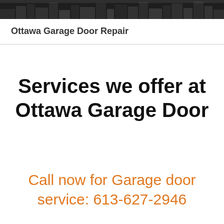[Figure (photo): Dark grayscale header image showing a cityscape or building texture]
Ottawa Garage Door Repair
Services we offer at Ottawa Garage Door
Call now for Garage door service: 613-627-2946